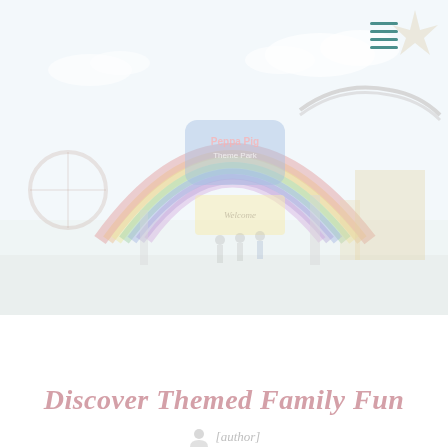[Figure (photo): Faded/washed-out photo of Peppa Pig Theme Park entrance featuring a large colorful rainbow arch, roller coaster track, welcome sign, and visitors walking in, under a blue sky with clouds.]
Discover Themed Family Fun
By [author]